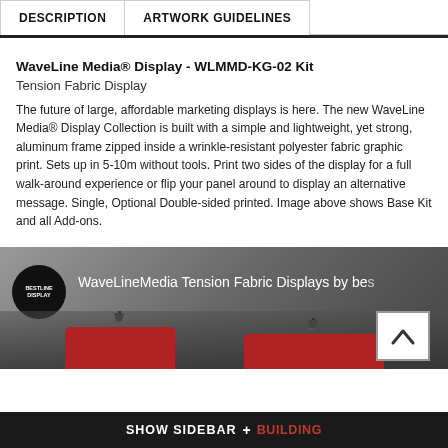| DESCRIPTION | ARTWORK GUIDELINES |
| --- | --- |
WaveLine Media® Display - WLMMD-KG-02 Kit
Tension Fabric Display
The future of large, affordable marketing displays is here. The new WaveLine Media® Display Collection is built with a simple and lightweight, yet strong, aluminum frame zipped inside a wrinkle-resistant polyester fabric graphic print. Sets up in 5-10m without tools. Print two sides of the display for a full walk-around experience or flip your panel around to display an alternative message. Single, Optional Double-sided printed. Image above shows Base Kit and all Add-ons.
[Figure (screenshot): Video thumbnail showing WaveLineMedia Tension Fabric Displays with a dark circular logo on left and display stands visible at bottom]
SHOW SIDEBAR + BUILDING